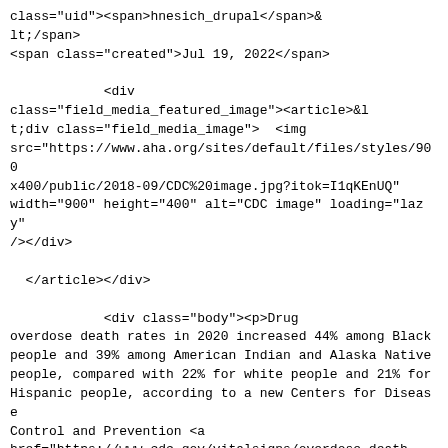class="uid">&lt;span&gt;hnesich_drupal&lt;/span&gt;&lt;/span&gt;
&lt;span class="created"&gt;Jul 19, 2022&lt;/span&gt;

            &lt;div class="field_media_featured_image"&gt;&lt;article&gt;&lt;div class="field_media_image"&gt;  &lt;img src="https://www.aha.org/sites/default/files/styles/900x400/public/2018-09/CDC%20image.jpg?itok=I1qKEnUQ" width="900" height="400" alt="CDC image" loading="lazy" /&gt;&lt;/div&gt;

  &lt;/article&gt;&lt;/div&gt;

            &lt;div class="body"&gt;&lt;p&gt;Drug overdose death rates in 2020 increased 44% among Black people and 39% among American Indian and Alaska Native people, compared with 22% for white people and 21% for Hispanic people, according to a new Centers for Disease Control and Prevention &lt;a href="https://www.cdc.gov/vitalsigns/overdose-death-disparities/index.html"&gt;report &lt;/a&gt;based on data from 25 states and Washington, D.C. The rate for Black youth aged 15-24 increased 86%, compared with 34% for white youth and 51% for Hispanic youth that age; while the rate for Black men aged 65 and older was nearly seven times the rate for white men that age. Overdose rates were higher in counties with greater income inequality and opioid treatment providers.
  &lt;/p&gt;